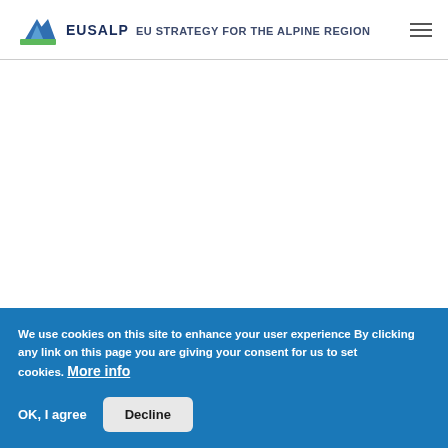EUSALP EU STRATEGY FOR THE ALPINE REGION
We use cookies on this site to enhance your user experience By clicking any link on this page you are giving your consent for us to set cookies. More info
OK, I agree
Decline